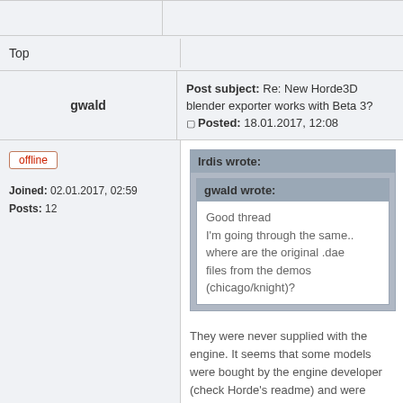Top
gwald
Post subject: Re: New Horde3D blender exporter works with Beta 3?
Posted: 18.01.2017, 12:08
offline
Joined: 02.01.2017, 02:59
Posts: 12
Irdis wrote:
gwald wrote:
Good thread
I'm going through the same..
where are the original .dae files from the demos (chicago/knight)?
They were never supplied with the engine. It seems that some models were bought by the engine developer (check Horde's readme) and were distributed only in the horde's format.